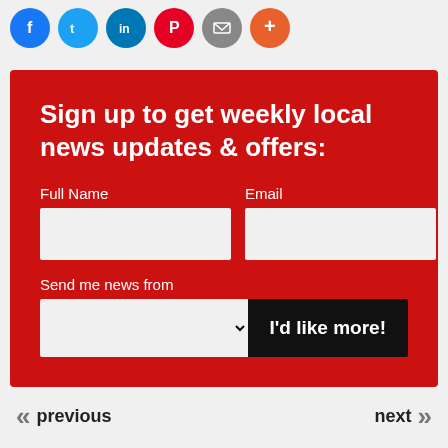[Figure (other): Row of circular social media share buttons: Facebook (blue), Twitter (blue), LinkedIn (blue), Pinterest (red), Email (grey), More/plus (orange-red)]
Sign up to get weekly local news updates & offers:
Full Name
Email
Send me news from
I'd like more!
<< previous    next >>